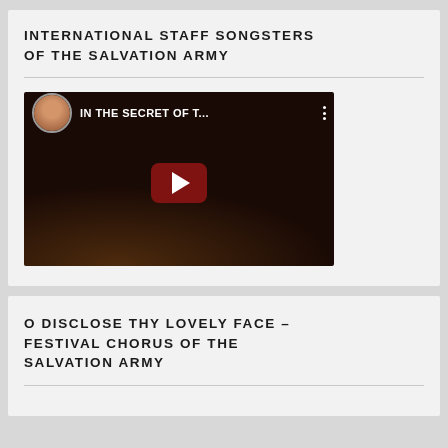INTERNATIONAL STAFF SONGSTERS OF THE SALVATION ARMY
[Figure (screenshot): YouTube video thumbnail showing a man's avatar in the top-left corner and the text 'IN THE SECRET OF T...' with a red play button in the center on a dark background.]
O DISCLOSE THY LOVELY FACE – FESTIVAL CHORUS OF THE SALVATION ARMY